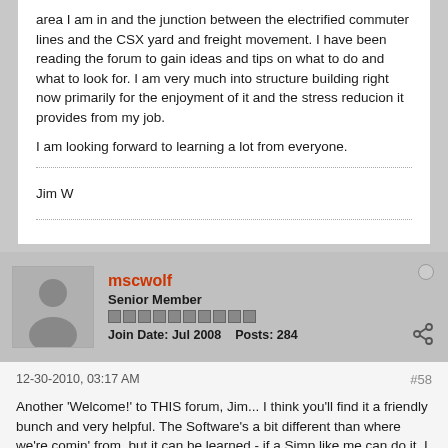area I am in and the junction between the electrified commuter lines and the CSX yard and freight movement. I have been reading the forum to gain ideas and tips on what to do and what to look for. I am very much into structure building right now primarily for the enjoyment of it and the stress reducion it provides from my job.
I am looking forward to learning a lot from everyone.
Jim W
mscwolf
Senior Member
Join Date: Jul 2008    Posts: 284
12-30-2010, 03:17 AM
#58
Another 'Welcome!' to THIS forum, Jim... I think you'll find it a friendly bunch and very helpful. The Software's a bit different than where we're comin' from, but it can be learned - if a Simp like me can do it, I am sure you'll master it in no time. Looking forward to seeing your progress. Maybe I can coerce you to make a road trip down to VA for a visit. Happy New Year (a little early!)